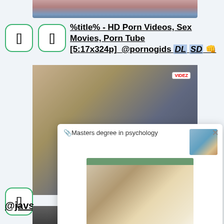[Figure (screenshot): Top partial image strip showing blurred content]
[Figure (screenshot): Two rounded square icon buttons with bracket symbols]
%title% - HD Porn Videos, Sex Movies, Porn Tube [5:17x324p]  @pornogids DL SD 👊
[Figure (screenshot): Video thumbnail with VIDEOZ watermark showing blurred scene]
[Figure (screenshot): Popup overlay showing 'Masters degree in psychology' with image of woman in graduation cap in library]
[Figure (screenshot): Rounded square icon button at bottom left]
@javs
[Figure (screenshot): Bottom image strip]